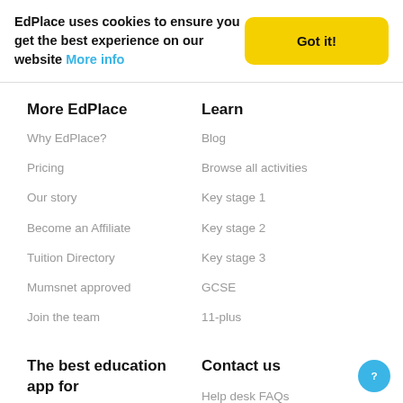EdPlace uses cookies to ensure you get the best experience on our website More info
More EdPlace
Why EdPlace?
Pricing
Our story
Become an Affiliate
Tuition Directory
Mumsnet approved
Join the team
Learn
Blog
Browse all activities
Key stage 1
Key stage 2
Key stage 3
GCSE
11-plus
The best education app for
Contact us
Help desk FAQs